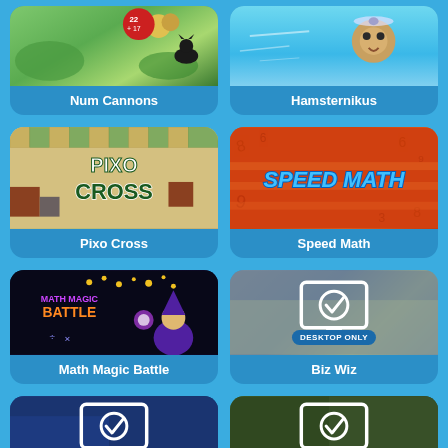[Figure (screenshot): Num Cannons game card with green field background and math number bubble]
Num Cannons
[Figure (screenshot): Hamsternikus game card with blue sky background]
Hamsternikus
[Figure (screenshot): Pixo Cross game card with colorful tile puzzle background and PIXO CROSS logo]
Pixo Cross
[Figure (screenshot): Speed Math game card with orange background and SPEED MATH logo]
Speed Math
[Figure (screenshot): Math Magic Battle game card with dark background, Math Magic Battle logo and wizard character]
Math Magic Battle
[Figure (screenshot): Biz Wiz game card with blurred background, desktop monitor icon, and DESKTOP ONLY badge]
Biz Wiz
[Figure (screenshot): Bottom left game card with dark blue background and desktop monitor checkmark icon (partial)]
[Figure (screenshot): Bottom right game card with dark green background and desktop monitor checkmark icon (partial)]